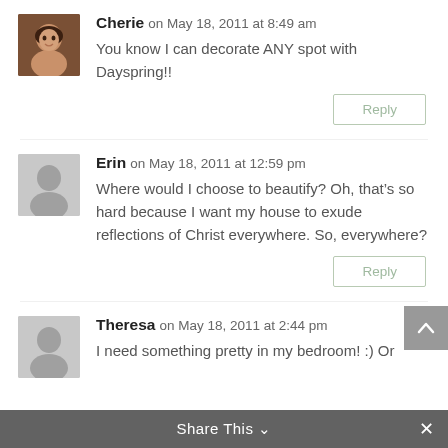Cherie on May 18, 2011 at 8:49 am
You know I can decorate ANY spot with Dayspring!!
Reply
Erin on May 18, 2011 at 12:59 pm
Where would I choose to beautify? Oh, that’s so hard because I want my house to exude reflections of Christ everywhere. So, everywhere?
Reply
Theresa on May 18, 2011 at 2:44 pm
I need something pretty in my bedroom! :) Or
Share This